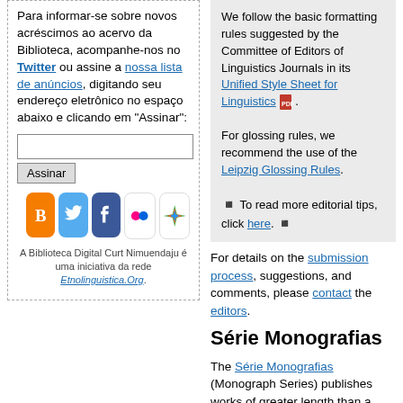Para informar-se sobre novos acréscimos ao acervo da Biblioteca, acompanhe-nos no Twitter ou assine a nossa lista de anúncios, digitando seu endereço eletrônico no espaço abaixo e clicando em "Assinar":
[Figure (screenshot): Email subscription input box with 'Assinar' button and social media icons (Blogger, Twitter, Facebook, Flickr, Spark/Google)]
A Biblioteca Digital Curt Nimuendaju é uma iniciativa da rede Etnolinguistica.Org.
We follow the basic formatting rules suggested by the Committee of Editors of Linguistics Journals in its Unified Style Sheet for Linguistics. For glossing rules, we recommend the use of the Leipzig Glossing Rules. ◾ To read more editorial tips, click here. ◾
For details on the submission process, suggestions, and comments, please contact the editors.
Série Monografias
The Série Monografias (Monograph Series) publishes works of greater length than a traditional article, such as dictionaries, grammatical sketches, or annotated versions of old manuscripts, as independent